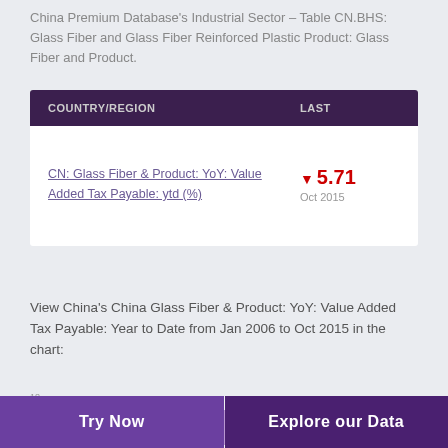China Premium Database's Industrial Sector – Table CN.BHS: Glass Fiber and Glass Fiber Reinforced Plastic Product: Glass Fiber and Product.
| COUNTRY/REGION | LAST |
| --- | --- |
| CN: Glass Fiber & Product: YoY: Value Added Tax Payable: ytd (%) | ▼ 5.71
Oct 2015 |
View China's China Glass Fiber & Product: YoY: Value Added Tax Payable: Year to Date from Jan 2006 to Oct 2015 in the chart:
[Figure (continuous-plot): Partial bar/line chart showing data values around 14.288, y-axis shows 18 and 16, chart is cut off at bottom]
Try Now    Explore our Data